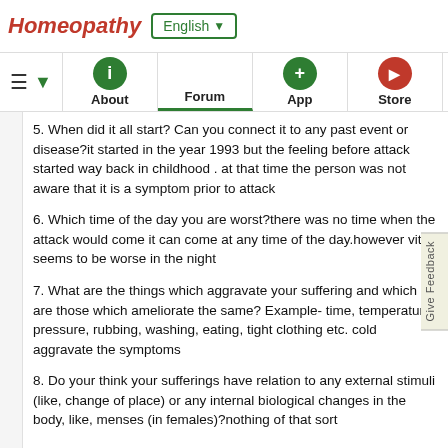Homeopathy  English ▼
≡ ▼  About  Forum  App  Store
5. When did it all start? Can you connect it to any past event or disease?it started in the year 1993 but the feeling before attack started way back in childhood . at that time the person was not aware that it is a symptom prior to attack
6. Which time of the day you are worst?there was no time when the attack would come it can come at any time of the day.however vit seems to be worse in the night
7. What are the things which aggravate your suffering and which are those which ameliorate the same? Example- time, temperature, pressure, rubbing, washing, eating, tight clothing etc. cold aggravate the symptoms
8. Do your think your sufferings have relation to any external stimuli (like, change of place) or any internal biological changes in the body, like, menses (in females)?nothing of that sort